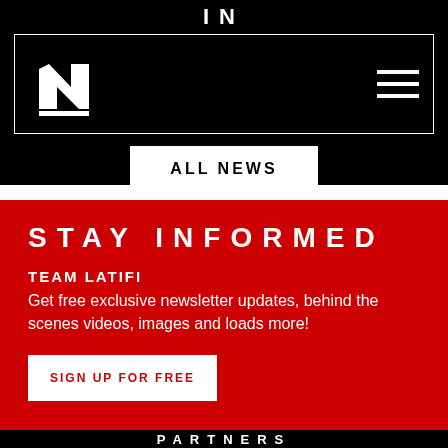[Figure (screenshot): Black navigation header with white 'IN' text, stylized white N logo on left, hamburger menu icon on right, all contained in a white-bordered box]
ALL NEWS
STAY INFORMED
TEAM LATIFI
Get free exclusive newsletter updates, behind the scenes videos, images and loads more!
SIGN UP FOR FREE
PARTNERS